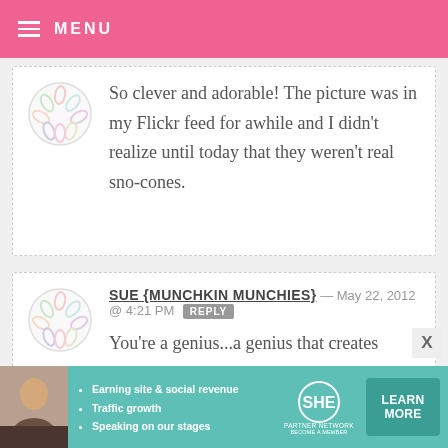MENU
[Figure (illustration): Circular avatar with decorative leaf/confetti pattern]
So clever and adorable! The picture was in my Flickr feed for awhile and I didn't realize until today that they weren't real sno-cones.
[Figure (illustration): Circular avatar with decorative leaf/confetti pattern]
SUE {MUNCHKIN MUNCHIES} — MAY 22, 2012 @ 4:21 PM  REPLY
You're a genius...a genius that creates cuteness!
[Figure (infographic): SHE Partner Network advertisement banner with teal background, woman photo, bullet points: Earning site & social revenue, Traffic growth, Speaking on our stages. SHE logo and LEARN MORE button.]